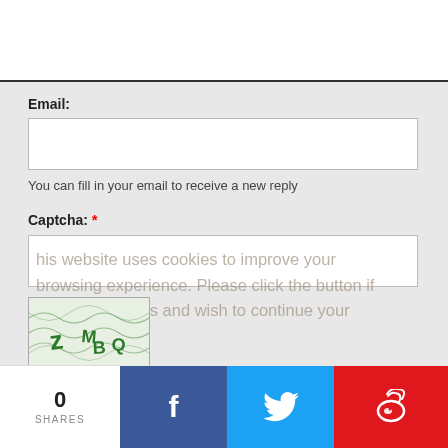Email:
You can fill in your email to receive a new reply
Captcha: *
[Figure (other): CAPTCHA image showing distorted green letters 'z M BQ' on a wavy green line background]
↺ Reset Captcha Code
I have read the Terms of Use and Privacy Policy of the buddhistdoor global website.
○Accept  ○Reject
0 SHARES
f
🐦
微博